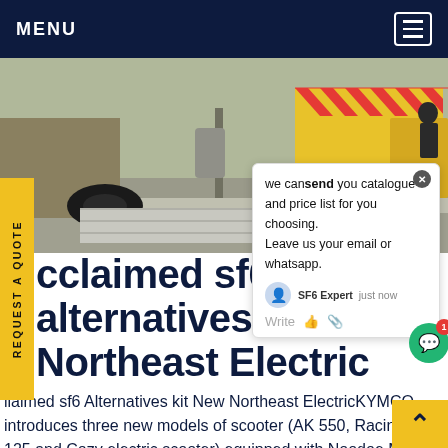MENU
[Figure (photo): Outdoor scene showing yellow utility truck with red/yellow chevron stripes, electrical cable spool on ground, road surface, workers visible in background]
we can send you catalogue and price list for you choosing. Leave us your email or whatsapp.
cclaimed sf6 alternatives kit New Northeast Electric
llaimed sf6 Alternatives kit New Northeast ElectricKYMCO introduces three new models of scooter (AK 550, Racing S 125 and Cozy electric scooter) equipped with Noodoe.Mr. Allen Ko, the